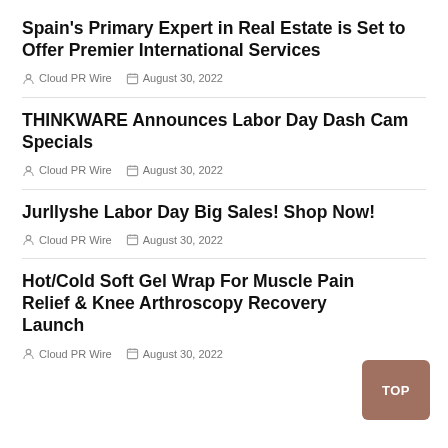Spain's Primary Expert in Real Estate is Set to Offer Premier International Services
Cloud PR Wire   August 30, 2022
THINKWARE Announces Labor Day Dash Cam Specials
Cloud PR Wire   August 30, 2022
Jurllyshe Labor Day Big Sales! Shop Now!
Cloud PR Wire   August 30, 2022
Hot/Cold Soft Gel Wrap For Muscle Pain Relief & Knee Arthroscopy Recovery Launch
Cloud PR Wire   August 30, 2022